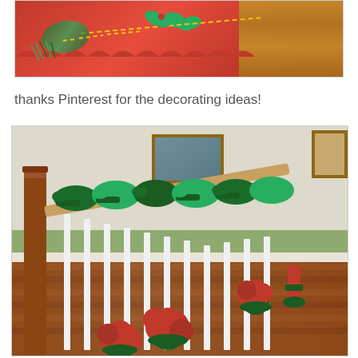[Figure (photo): Close-up photo of a red felt Christmas tree skirt with green pine branch embroidery and yellow dashed stitching, partially showing a wood floor background]
thanks Pinterest for the decorating ideas!
[Figure (photo): Photo of a staircase banister decorated with green garland for Christmas, with red poinsettia plants placed on the hardwood floor at the base of the stairs. A framed painting is visible on the wall in the background.]